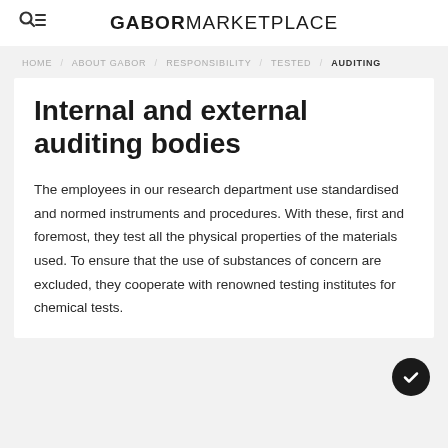GABOR MARKETPLACE
HOME / ABOUT GABOR / RESPONSIBILITY / TESTED / AUDITING
Internal and external auditing bodies
The employees in our research department use standardised and normed instruments and procedures. With these, first and foremost, they test all the physical properties of the materials used. To ensure that the use of substances of concern are excluded, they cooperate with renowned testing institutes for chemical tests.